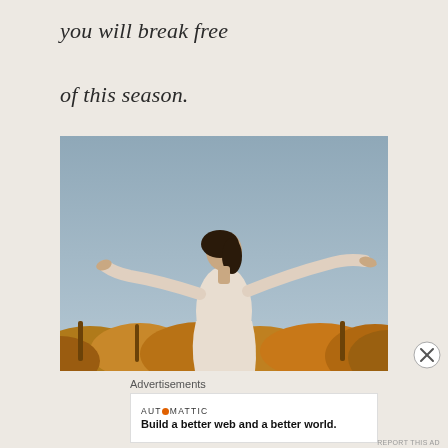you will break free
of this season.
[Figure (photo): Woman in white top with arms spread wide, standing against a clear sky with golden foliage below, conveying freedom and joy.]
Advertisements
[Figure (other): Automattic advertisement banner: logo 'AUTOMATTIC' with orange dot replacing O, tagline 'Build a better web and a better world.']